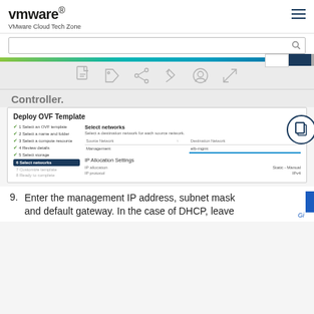VMware VMware Cloud Tech Zone
[Figure (screenshot): Deploy OVF Template dialog showing Select networks step with Management network mapped to elb-mgmt, and IP Allocation Settings showing Static-Manual and IPv4]
Controller.
9. Enter the management IP address, subnet mask and default gateway. In the case of DHCP, leave